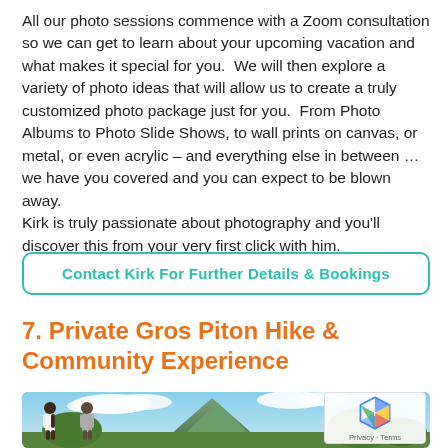All our photo sessions commence with a Zoom consultation so we can get to learn about your upcoming vacation and what makes it special for you.  We will then explore a variety of photo ideas that will allow us to create a truly customized photo package just for you.  From Photo Albums to Photo Slide Shows, to wall prints on canvas, or metal, or even acrylic – and everything else in between … we have you covered and you can expect to be blown away.
Kirk is truly passionate about photography and you'll discover this from your very first click with him.
Contact Kirk For Further Details & Bookings
7. Private Gros Piton Hike & Community Experience
[Figure (photo): Outdoor photograph showing people hiking near Gros Piton mountain in St Lucia, with blue sky and green trees in the background.]